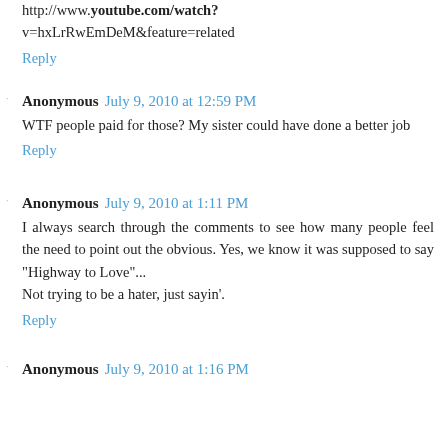http://www.youtube.com/watch?v=hxLrRwEmDeM&feature=related
Reply
Anonymous  July 9, 2010 at 12:59 PM
WTF people paid for those? My sister could have done a better job
Reply
Anonymous  July 9, 2010 at 1:11 PM
I always search through the comments to see how many people feel the need to point out the obvious. Yes, we know it was supposed to say "Highway to Love"...
Not trying to be a hater, just sayin'.
Reply
Anonymous  July 9, 2010 at 1:16 PM